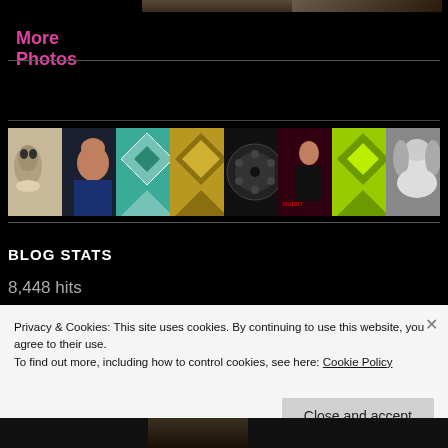[Figure (photo): Top strip of two thumbnail photos (dark/landscape images) at very top of page]
More Photos
[Figure (photo): Horizontal photo strip with 7 images: alien/hand, man portrait, teal quilt pattern, gold diamond quilt pattern, film reel, person in dark outfit, lime green pattern, woman with curly hair black and white]
BLOG STATS
8,448 hits
Privacy & Cookies: This site uses cookies. By continuing to use this website, you agree to their use.
To find out more, including how to control cookies, see here: Cookie Policy
Close and accept